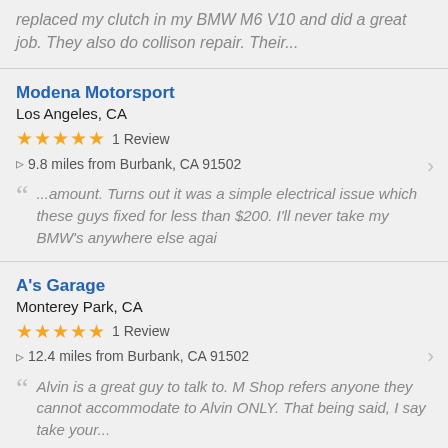replaced my clutch in my BMW M6 V10 and did a great job. They also do collison repair. Their...
Modena Motorsport
Los Angeles, CA
★★★★★ 1 Review
9.8 miles from Burbank, CA 91502
...amount. Turns out it was a simple electrical issue which these guys fixed for less than $200. I'll never take my BMW's anywhere else agai
A's Garage
Monterey Park, CA
★★★★★ 1 Review
12.4 miles from Burbank, CA 91502
Alvin is a great guy to talk to. M Shop refers anyone they cannot accommodate to Alvin ONLY. That being said, I say take your...